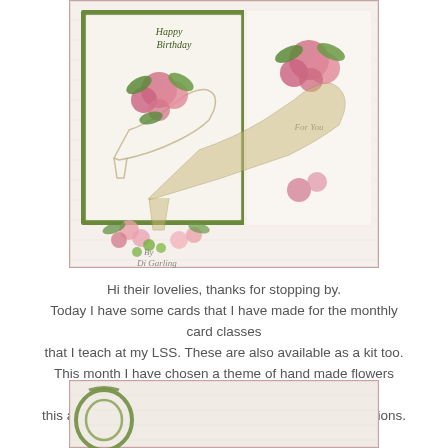[Figure (photo): Handmade greeting cards featuring decorative high-heel shoe stamps with pink handmade flowers, green leaves, and glittery embellishments on white textured background. Watermark reads 'By Di Garling'.]
Hi their lovelies, thanks for stopping by. Today I have some cards that I have made for the monthly card classes that I teach at my LSS. These are also available as a kit too. This month I have chosen a theme of hand made flowers teamed with this amazing shoe stamp & die set from Heartfelt Creations.
[Figure (photo): Partial view of another handmade card with green ribbon on textured background, bottom of page.]